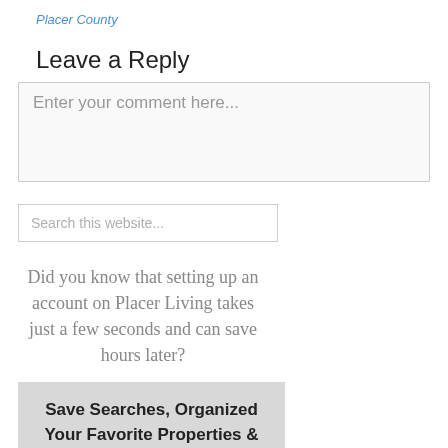Placer County
Leave a Reply
Enter your comment here...
Search this website...
Did you know that setting up an account on Placer Living takes just a few seconds and can save hours later?
Save Searches, Organized Your Favorite Properties & more...
with your new account on